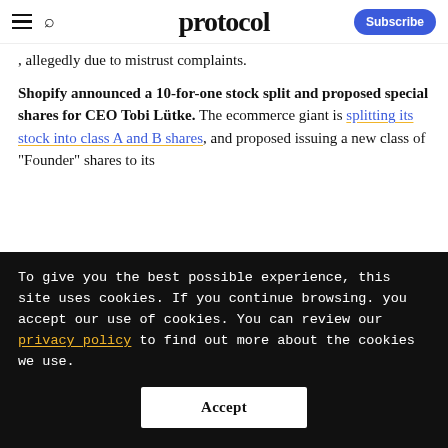protocol — Subscribe
complaints.
Shopify announced a 10-for-one stock split and proposed special shares for CEO Tobi Lütke. The ecommerce giant is splitting its stock into class A and B shares, and proposed issuing a new class of "Founder" shares to its
To give you the best possible experience, this site uses cookies. If you continue browsing. you accept our use of cookies. You can review our privacy policy to find out more about the cookies we use.
Accept